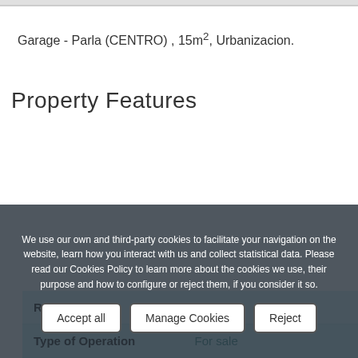Garage - Parla (CENTRO) , 15m², Urbanizacion.
Property Features
|  |  |
| --- | --- |
| Reference | 02711 |
| Type of Operation | For sale |
| Type of property | Garage |
| Area / City | CENTRO / Parla |
We use our own and third-party cookies to facilitate your navigation on the website, learn how you interact with us and collect statistical data. Please read our Cookies Policy to learn more about the cookies we use, their purpose and how to configure or reject them, if you consider it so.